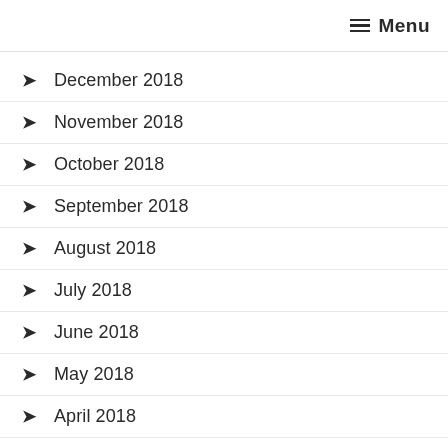Menu
December 2018
November 2018
October 2018
September 2018
August 2018
July 2018
June 2018
May 2018
April 2018
March 2018
February 2018